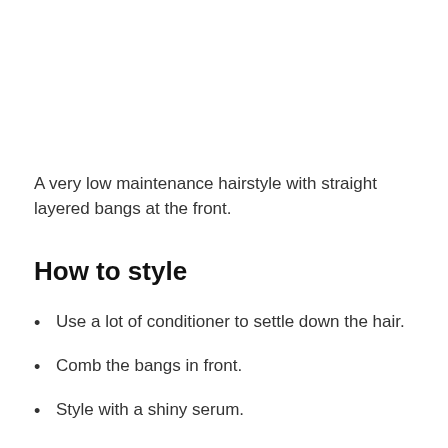A very low maintenance hairstyle with straight layered bangs at the front.
How to style
Use a lot of conditioner to settle down the hair.
Comb the bangs in front.
Style with a shiny serum.